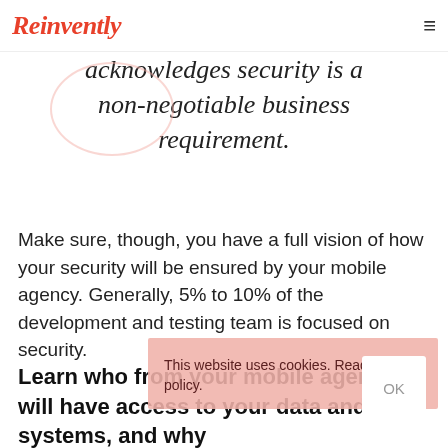Reinvently
acknowledges security is a non-negotiable business requirement.
Make sure, though, you have a full vision of how your security will be ensured by your mobile agency. Generally, 5% to 10% of the development and testing team is focused on security.
Learn who from your mobile agency will have access to your data and systems, and why
This website uses cookies. Read our policy.